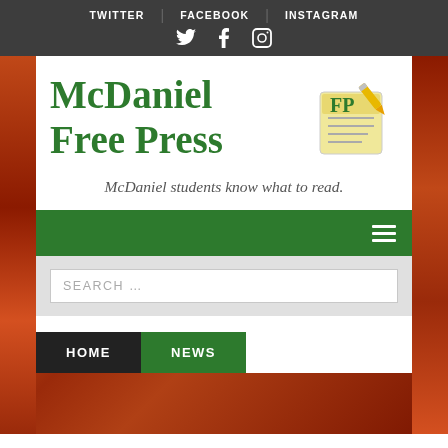TWITTER | FACEBOOK | INSTAGRAM
[Figure (logo): McDaniel Free Press logo with newspaper icon and text 'McDaniel FP / Free Press']
McDaniel students know what to read.
HOME | NEWS